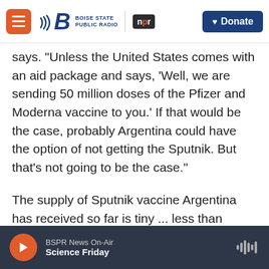Boise State Public Radio | NPR | Donate
says. "Unless the United States comes with an aid package and says, 'Well, we are sending 50 million doses of the Pfizer and Moderna vaccine to you.' If that would be the case, probably Argentina could have the option of not getting the Sputnik. But that's not going to be the case."
The supply of Sputnik vaccine Argentina has received so far is tiny ... less than enough to vaccinate 1% of the adult population. And as Argentina scrambles to secure millions of additional doses from Sputnik's manufacturer and other companies, it's competing with just about
BSPR News On-Air | Science Friday